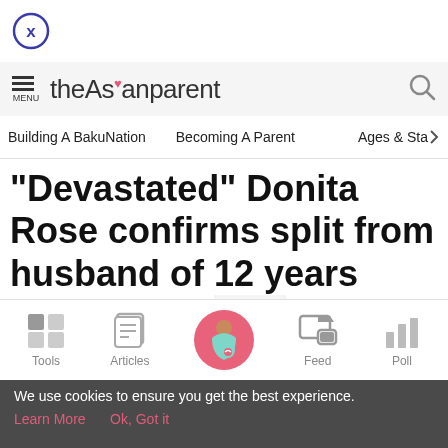[Figure (other): Close button - circle with X inside]
theAsianparent
Building A BakuNation  Becoming A Parent  Ages & Sta >
"Devastated" Donita Rose confirms split from husband of 12 years who is now with someone new
[Figure (other): Bottom navigation bar with Tools, Articles, Home (pregnant woman icon), Feed, Poll]
We use cookies to ensure you get the best experience.
Learn More   Ok, Got it